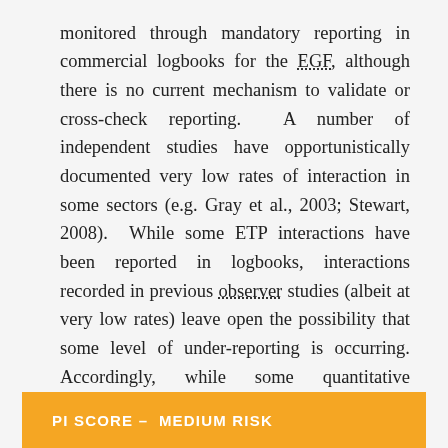monitored through mandatory reporting in commercial logbooks for the EGF, although there is no current mechanism to validate or cross-check reporting.  A number of independent studies have opportunistically documented very low rates of interaction in some sectors (e.g. Gray et al., 2003; Stewart, 2008).  While some ETP interactions have been reported in logbooks, interactions recorded in previous observer studies (albeit at very low rates) leave open the possibility that some level of under-reporting is occurring. Accordingly, while some quantitative information exists and is sufficient to support measures to manage ETP impacts, it is not clear that it is sufficient to assess total rates of fishery-related mortality.
PI SCORE –  MEDIUM RISK